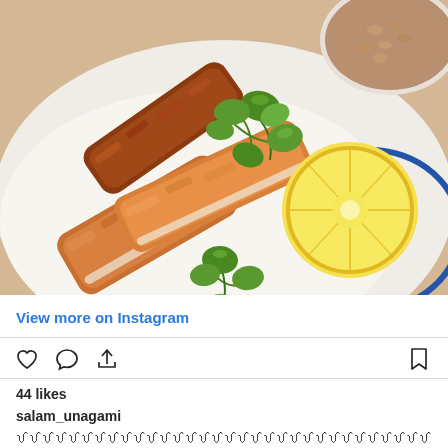[Figure (photo): Food photo showing fried fish pieces with breading, garnished with fresh parsley and a lemon slice, served on white paper on a plate with blue rim. A bowl of rice/grains visible in the top right corner.]
View more on Instagram
[Figure (other): Instagram action icons: heart (like), speech bubble (comment), share arrow, and bookmark icon]
44 likes
salam_unagami
ꪜꪜꪜꪜꪜꪜꪜꪜꪜꪜꪜꪜꪜꪜꪜꪜꪜꪜꪜꪜꪜꪜꪜꪜꪜꪜꪜꪜꪜꪜꪜꪜꪜꪜꪜꪜꪜꪜꪜꪜꪜ